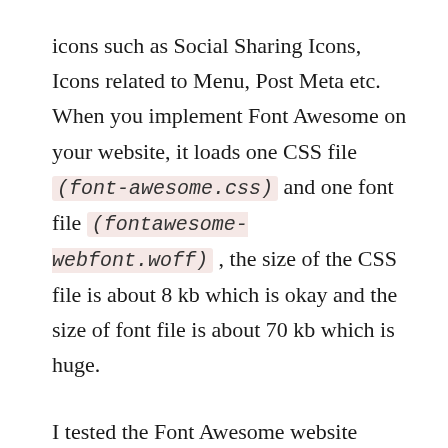icons such as Social Sharing Icons, Icons related to Menu, Post Meta etc. When you implement Font Awesome on your website, it loads one CSS file (font-awesome.css) and one font file (fontawesome-webfont.woff) , the size of the CSS file is about 8 kb which is okay and the size of font file is about 70 kb which is huge.
I tested the Font Awesome website (https://fontawesome.io/) on Pingdom to measure the impact on website loading and the results were eye-opener.